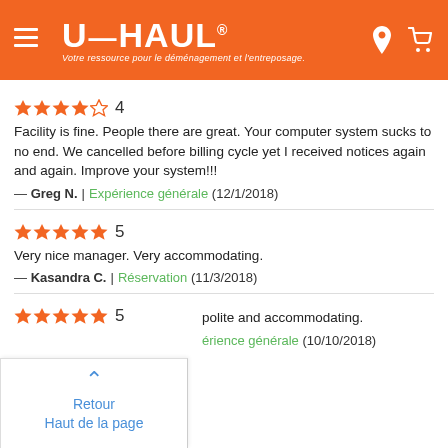[Figure (screenshot): U-Haul orange header with hamburger menu icon, U-Haul logo with tagline in French, location pin icon and shopping cart icon on the right]
★★★★☆ 4
Facility is fine. People there are great. Your computer system sucks to no end. We cancelled before billing cycle yet I received notices again and again. Improve your system!!!
— Greg N. | Expérience générale (12/1/2018)
★★★★★ 5
Very nice manager. Very accommodating.
— Kasandra C. | Réservation (11/3/2018)
★★★★★ 5
...polite and accommodating.
...érience générale (10/10/2018)
Retour
Haut de la page